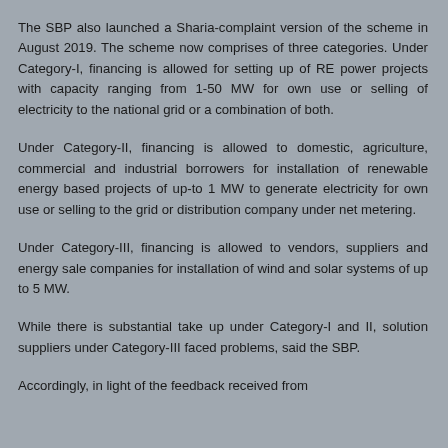The SBP also launched a Sharia-complaint version of the scheme in August 2019. The scheme now comprises of three categories. Under Category-I, financing is allowed for setting up of RE power projects with capacity ranging from 1-50 MW for own use or selling of electricity to the national grid or a combination of both.
Under Category-II, financing is allowed to domestic, agriculture, commercial and industrial borrowers for installation of renewable energy based projects of up-to 1 MW to generate electricity for own use or selling to the grid or distribution company under net metering.
Under Category-III, financing is allowed to vendors, suppliers and energy sale companies for installation of wind and solar systems of up to 5 MW.
While there is substantial take up under Category-I and II, solution suppliers under Category-III faced problems, said the SBP.
Accordingly, in light of the feedback received from